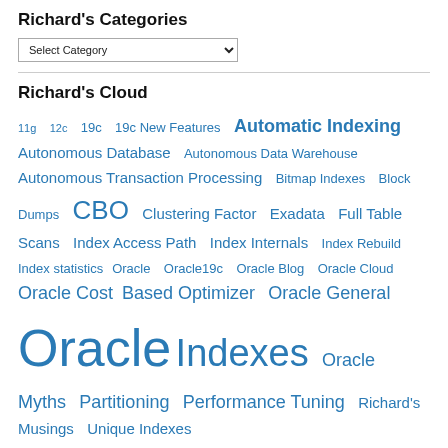Richard's Categories
Select Category (dropdown)
Richard's Cloud
11g  12c  19c  19c New Features  Automatic Indexing  Autonomous Database  Autonomous Data Warehouse  Autonomous Transaction Processing  Bitmap Indexes  Block Dumps  CBO  Clustering Factor  Exadata  Full Table Scans  Index Access Path  Index Internals  Index Rebuild  Index statistics  Oracle  Oracle19c  Oracle Blog  Oracle Cloud  Oracle Cost Based Optimizer  Oracle General  Oracle  Oracle Indexes  Oracle Myths  Partitioning  Performance Tuning  Richard's Musings  Unique Indexes